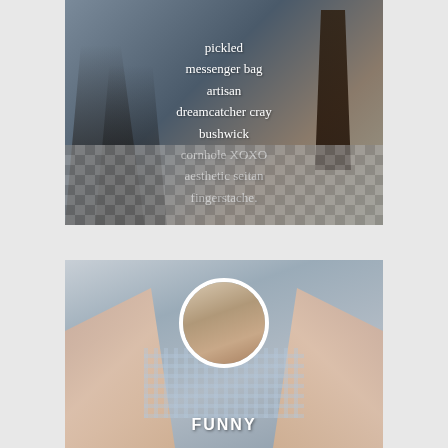[Figure (photo): Fashion photo showing legs in high heels on checkered floor with chair, overlaid with white serif text reading: pickled messenger bag artisan dreamcatcher cray bushwick cornhole XOXO aesthetic seitan fingerstache.]
[Figure (photo): Fashion photo of a person in plaid outfit with arms raised, featuring a circular avatar portrait in the center and the bold white text FUNNY at the bottom.]